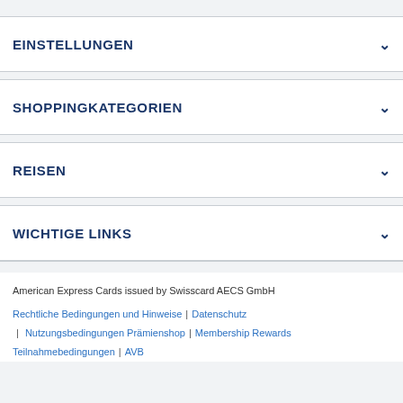EINSTELLUNGEN
SHOPPINGKATEGORIEN
REISEN
WICHTIGE LINKS
American Express Cards issued by Swisscard AECS GmbH
Rechtliche Bedingungen und Hinweise | Datenschutz | Nutzungsbedingungen Prämienshop | Membership Rewards Teilnahmebedingungen | AVB